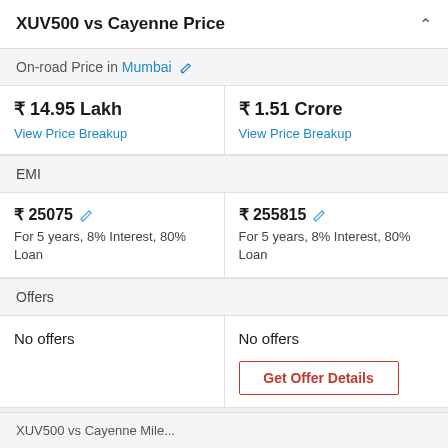XUV500 vs Cayenne Price
On-road Price in Mumbai
| XUV500 | Cayenne |
| --- | --- |
| ₹ 14.95 Lakh
View Price Breakup | ₹ 1.51 Crore
View Price Breakup |
| EMI | EMI |
| ₹ 25075
For 5 years, 8% Interest, 80% Loan | ₹ 255815
For 5 years, 8% Interest, 80% Loan |
| Offers | Offers |
| No offers | No offers
Get Offer Details |
XUV500 vs Cayenne Mile...